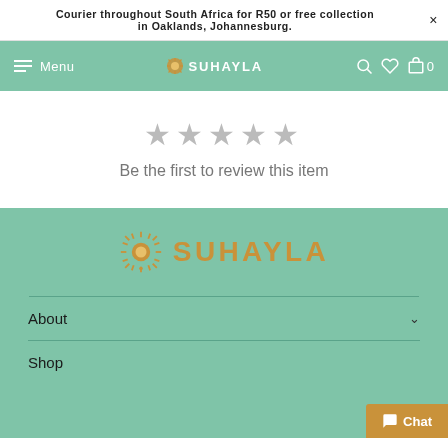Courier throughout South Africa for R50 or free collection in Oaklands, Johannesburg.
[Figure (screenshot): Navigation bar with hamburger menu, Menu label, SUHAYLA logo (sun icon + text), search icon, heart icon, and cart icon with badge 0]
[Figure (other): Five grey star rating icons]
Be the first to review this item
[Figure (logo): SUHAYLA footer logo with golden sunflower/mandala icon and SUHAYLA text in gold on teal background]
About
Shop
Chat